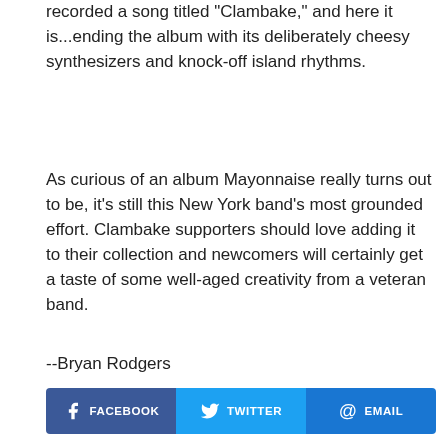recorded a song titled "Clambake," and here it is...ending the album with its deliberately cheesy synthesizers and knock-off island rhythms.
As curious of an album Mayonnaise really turns out to be, it's still this New York band's most grounded effort. Clambake supporters should love adding it to their collection and newcomers will certainly get a taste of some well-aged creativity from a veteran band.
--Bryan Rodgers
[Figure (infographic): Three social share buttons in a row: Facebook (dark blue with Facebook icon), Twitter (cyan/light blue with Twitter bird icon), Email (blue with @ icon). Labels: FACEBOOK, TWITTER, EMAIL.]
YOU MAY ALSO LIKE
[Figure (photo): Thumbnail image labeled Hypnotic Clambake]